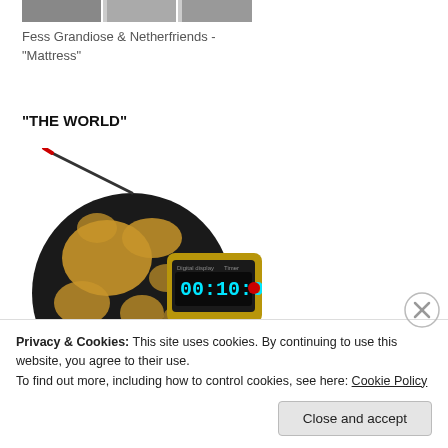[Figure (photo): Partial view of a photo at top of page showing people, cropped]
Fess Grandiose & Netherfriends - "Mattress"
“THE WORLD”
[Figure (illustration): 3D illustration of a globe designed as a bomb with a digital timer showing 00:10:00, with a fuse coming out of the top. The globe is black and gold colored.]
Privacy & Cookies: This site uses cookies. By continuing to use this website, you agree to their use.
To find out more, including how to control cookies, see here: Cookie Policy
Close and accept